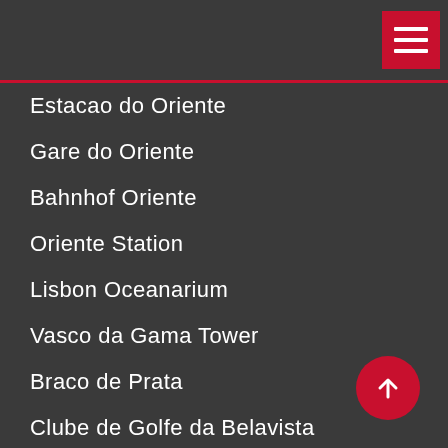Estacao do Oriente
Gare do Oriente
Bahnhof Oriente
Oriente Station
Lisbon Oceanarium
Vasco da Gama Tower
Braco de Prata
Clube de Golfe da Belavista
Super Bock Super Rock - Lisboa
Bela Vista Park
Lisbon Airport Metro
Rock in Rio Lisboa Arena
Clube Clube